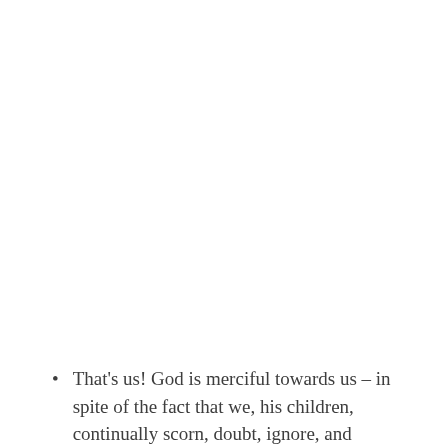That's us! God is merciful towards us – in spite of the fact that we, his children, continually scorn, doubt, ignore, and